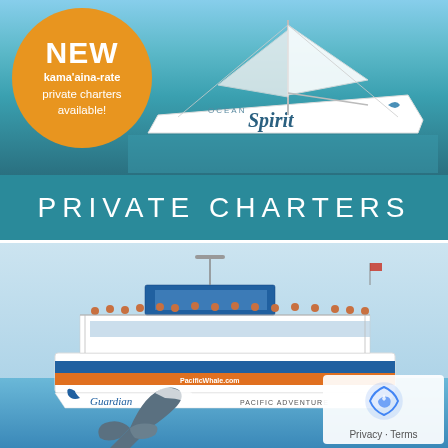[Figure (photo): Top half: photo of white sailboat named 'Ocean Spirit' on turquoise water, with orange circular badge overlay reading 'NEW kama'aina-rate private charters available!' and a teal banner below reading 'PRIVATE CHARTERS']
[Figure (photo): Bottom half: photo of a large white tour/whale watching boat named 'Guardian' and 'Pacific Adventure' on calm blue ocean water with passengers on deck, and a whale breaching in the foreground]
Privacy · Terms